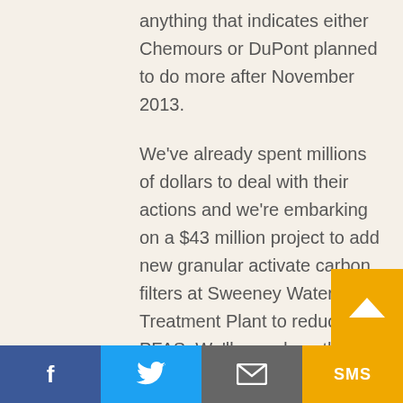anything that indicates either Chemours or DuPont planned to do more after November 2013.
We've already spent millions of dollars to deal with their actions and we're embarking on a $43 million project to add new granular activate carbon filters at Sweeney Water Treatment Plant to reduce PFAS. We'll spend another $2.9 million a year to operate those enhancements.
Chemours speaks about its commitment to sustainability and the equipment it's adding at the Fayetteville Works to address its PFAS releases. OK. But, look, if your kid has broken windows all over the